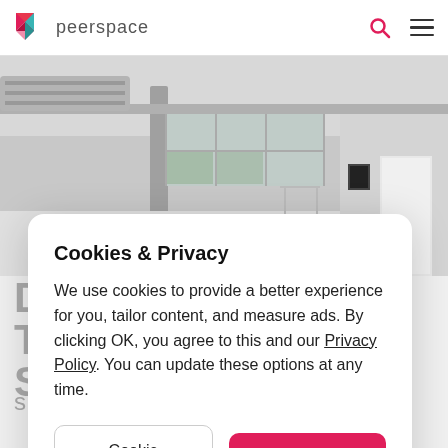peerspace
[Figure (photo): Interior photo of a large white studio/event space with high ceilings, exposed beams, large windows, and minimal furnishings]
Cookies & Privacy
We use cookies to provide a better experience for you, tailor content, and measure ads. By clicking OK, you agree to this and our Privacy Policy. You can update these options at any time.
Cookie Preferences
OK